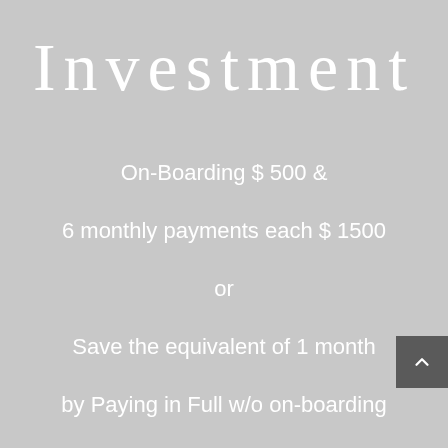Investment
On-Boarding $ 500 &
6 monthly payments each $ 1500
or
Save the equivalent of 1 month
by Paying in Full w/o on-boarding
$ 8000